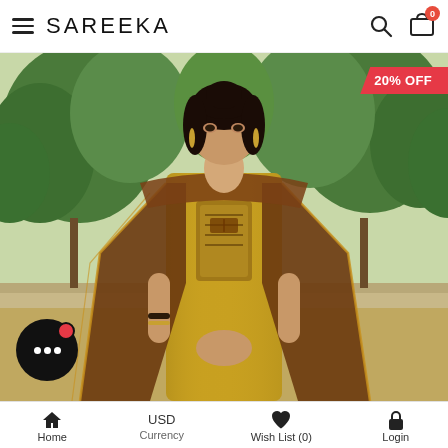SAREEKA
[Figure (photo): Product photo of a model wearing a mustard yellow Indian salwar kameez with brown dupatta and embroidered chest panel, standing in front of green trees. A 20% OFF badge appears in the top right corner.]
Home | USD Currency | Wish List (0) | Login